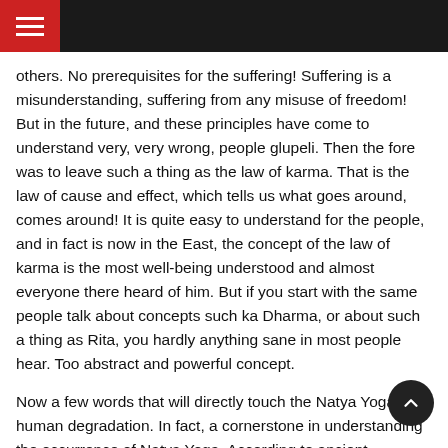≡
others. No prerequisites for the suffering! Suffering is a misunderstanding, suffering from any misuse of freedom! But in the future, and these principles have come to understand very, very wrong, people glupeli. Then the fore was to leave such a thing as the law of karma. That is the law of cause and effect, which tells us what goes around, comes around! It is quite easy to understand for the people, and in fact is now in the East, the concept of the law of karma is the most well-being understood and almost everyone there heard of him. But if you start with the same people talk about concepts such ka Dharma, or about such a thing as Rita, you hardly anything sane in most people hear. Too abstract and powerful concept.
Now a few words that will directly touch the Natya Yoga on human degradation. In fact, a cornerstone in understanding the occurrence of Natya Yoga. According to ancient mythology, Vedic sometime in the very ancient times, our ancestors have been committed. It was so called, Satya Yuga – the golden age, when every living creature sensed the Rita Law, could live and enjoy life, to do their spiritual development, and business as usual in such a way that there is no negative impact. This century has been long enough, as the mythology says. It was then born, many knowledge, practices, techniques, including one which has survived. But the according to the Cosmic...